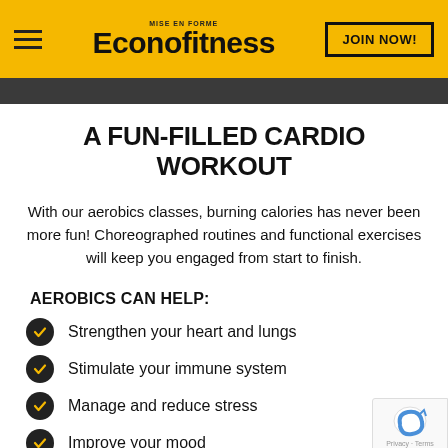MISE EN FORME Econofitness | JOIN NOW!
A FUN-FILLED CARDIO WORKOUT
With our aerobics classes, burning calories has never been more fun! Choreographed routines and functional exercises will keep you engaged from start to finish.
AEROBICS CAN HELP:
Strengthen your heart and lungs
Stimulate your immune system
Manage and reduce stress
Improve your mood